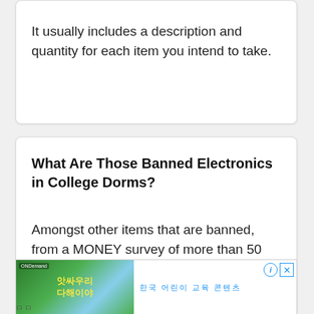It usually includes a description and quantity for each item you intend to take.
What Are Those Banned Electronics in College Dorms?
Amongst other items that are banned, from a MONEY survey of more than 50 institutions in the
[Figure (screenshot): Advertisement banner showing a Korean-language animated children's content (jungle theme with Korean text '앗싸우리 다해이야') with blue Korean text and info/close icons on the right side.]